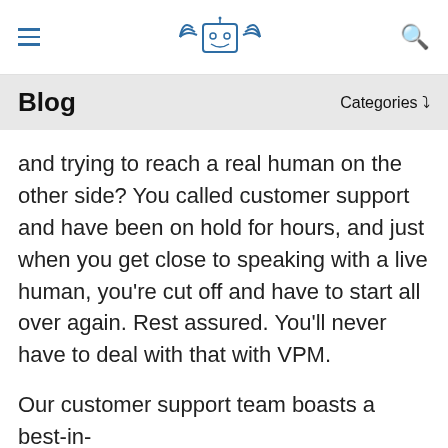≡  [logo]  🔍
Blog    Categories ▾
and trying to reach a real human on the other side? You called customer support and have been on hold for hours, and just when you get close to speaking with a live human, you're cut off and have to start all over again. Rest assured. You'll never have to deal with that with VPM.
Our customer support team boasts a best-in-